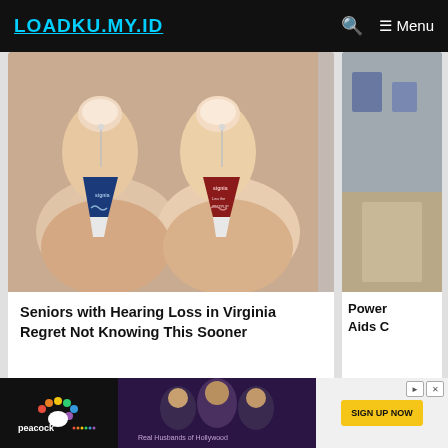LOADKU.MY.ID
[Figure (photo): Two small hearing aids (one blue, one red, both branded Signia) being held between fingers against a light beige background]
Seniors with Hearing Loss in Virginia Regret Not Knowing This Sooner
[Figure (photo): Partially visible image, appears to show a room interior]
Powerful Hearing Aids C
[Figure (other): Peacock streaming service advertisement banner with text SIGN UP NOW and Real Husbands of Hollywood show image]